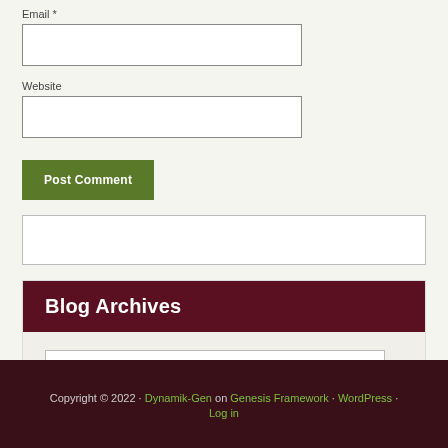Email *
[Figure (other): Email input text field (empty)]
Website
[Figure (other): Website input text field (empty)]
[Figure (other): Post Comment button (green)]
[Figure (other): Search input text field (empty)]
Blog Archives
[Figure (other): Select Month dropdown]
Copyright © 2022 · Dynamik-Gen on Genesis Framework · WordPress · Log in